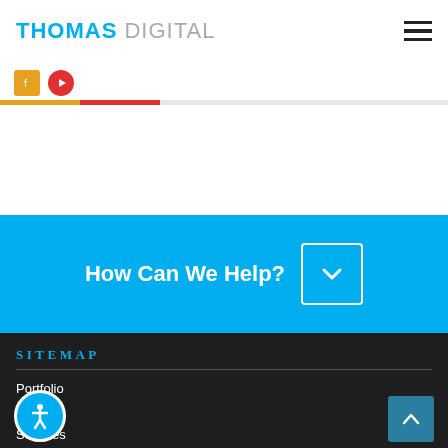THOMAS DIGITAL
[Figure (screenshot): Navigation icons strip with colored bar below header]
How Can We Help?
SITEMAP
Portfolio
Pricing
Services
Reviews